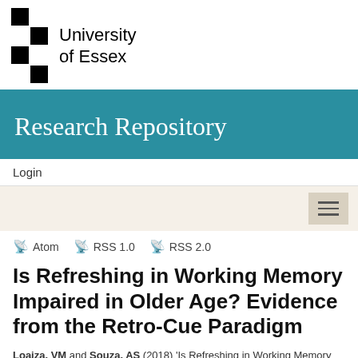[Figure (logo): University of Essex logo with black and white checkered grid pattern and university name]
Research Repository
Login
[Figure (screenshot): Navigation bar with hamburger menu button on beige background]
Atom  RSS 1.0  RSS 2.0
Is Refreshing in Working Memory Impaired in Older Age? Evidence from the Retro-Cue Paradigm
Loaiza, VM and Souza, AS (2018) 'Is Refreshing in Working Memory